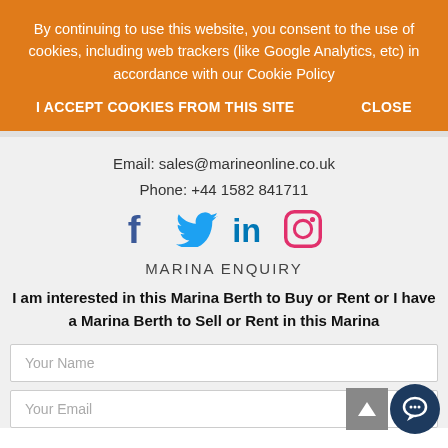By continuing to use this website, you consent to the use of cookies, including web trackers (like Google Analytics, etc) in accordance with our Cookie Policy
I ACCEPT COOKIES FROM THIS SITE
CLOSE
Email: sales@marineonline.co.uk
Phone: +44 1582 841711
[Figure (illustration): Social media icons: Facebook, Twitter, LinkedIn, Instagram]
MARINA ENQUIRY
I am interested in this Marina Berth to Buy or Rent or I have a Marina Berth to Sell or Rent in this Marina
Your Name
Your Email